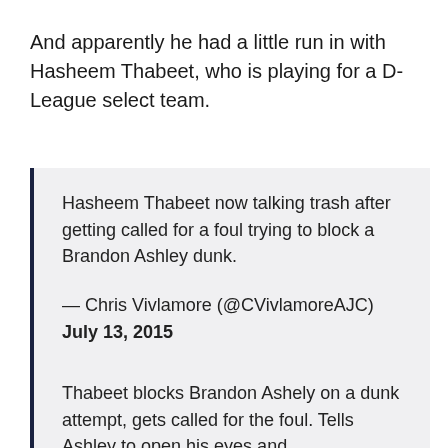And apparently he had a little run in with Hasheem Thabeet, who is playing for a D-League select team.
Hasheem Thabeet now talking trash after getting called for a foul trying to block a Brandon Ashley dunk.

— Chris Vivlamore (@CVivlamoreAJC) July 13, 2015
Thabeet blocks Brandon Ashely on a dunk attempt, gets called for the foul. Tells Ashley to open his eyes and...